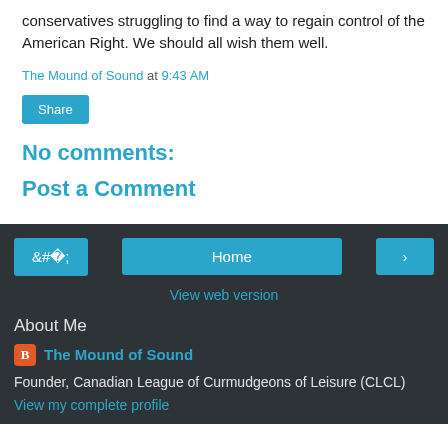conservatives struggling to find a way to regain control of the American Right. We should all wish them well.
The Mound of Sound at 9:43 AM
Share
No comments:
Post a Comment
< Home >
View web version
About Me
The Mound of Sound
Founder, Canadian League of Curmudgeons of Leisure (CLCL)
View my complete profile